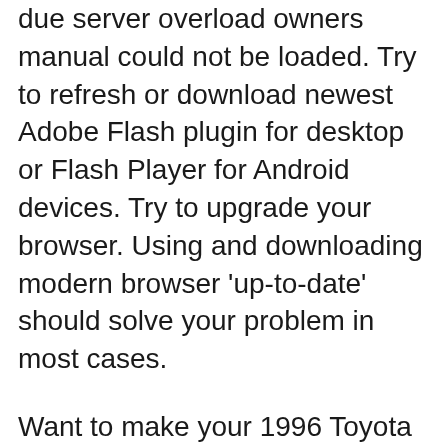due server overload owners manual could not be loaded. Try to refresh or download newest Adobe Flash plugin for desktop or Flash Player for Android devices. Try to upgrade your browser. Using and downloading modern browser 'up-to-date' should solve your problem in most cases.
Want to make your 1996 Toyota Tacoma one of a kind, keep it running at its peak, or turn it into a high-powered beast? Our vast selection of premium accessories and parts ticks all the boxes. Toyota Tacoma. Una camioneta hecha para desafiar la ciudad y cualquier terreno. AtrГ©vete a manejarla y comprueba por quГ© es